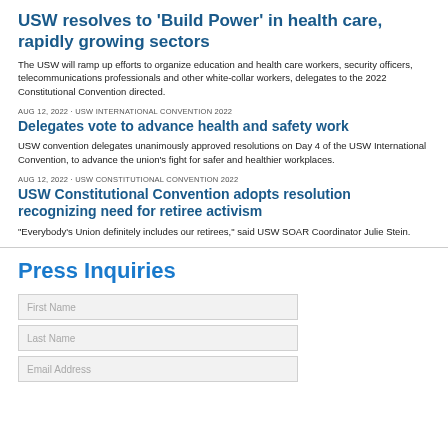USW resolves to 'Build Power' in health care, rapidly growing sectors
The USW will ramp up efforts to organize education and health care workers, security officers, telecommunications professionals and other white-collar workers, delegates to the 2022 Constitutional Convention directed.
AUG 12, 2022 · USW INTERNATIONAL CONVENTION 2022
Delegates vote to advance health and safety work
USW convention delegates unanimously approved resolutions on Day 4 of the USW International Convention, to advance the union's fight for safer and healthier workplaces.
AUG 12, 2022 · USW CONSTITUTIONAL CONVENTION 2022
USW Constitutional Convention adopts resolution recognizing need for retiree activism
"Everybody's Union definitely includes our retirees," said USW SOAR Coordinator Julie Stein.
Press Inquiries
First Name
Last Name
Email Address